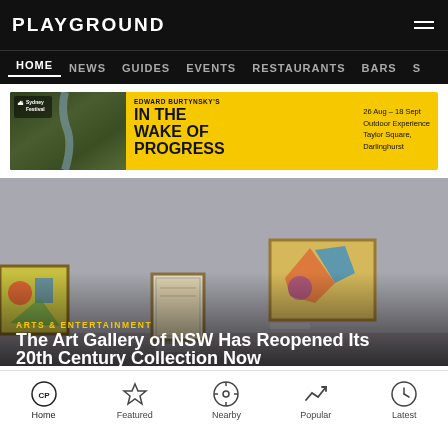PLAYGROUND
HOME  NEWS  GUIDES  EVENTS  RESTAURANTS  BARS  S
[Figure (photo): Sydney Festival banner ad for Edward Burtynsky's 'In The Wake Of Progress' outdoor experience at Taylor Square, Darlinghurst, 26 Aug - 18 Sept. Yellow background with aerial landscape photo.]
[Figure (photo): Art gallery interior showing multiple framed artworks hung on grey walls — various abstract and figurative paintings including colourful abstract works.]
ARTS & ENTERTAINMENT
The Art Gallery of NSW Has Reopened Its 20th Century Collection Now
Home  Featured  Nearby  Popular  Latest